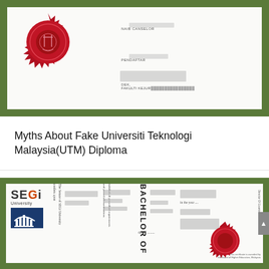[Figure (photo): Photograph of a UTM diploma certificate with red wax seal, multiple signatures with labels NAIB CANSELOR, PENDAFTAR, DEK, FAKULTI KEJUR..., on white background with green border frame]
Myths About Fake Universiti Teknologi Malaysia(UTM) Diploma
[Figure (photo): Photograph of a SEGi University Bachelor of [degree redacted] diploma certificate with red seal, rotated text columns showing BACHELOR OF, senate conferral text, fulfillment text, on white background with green border frame, photographed on green textured surface]